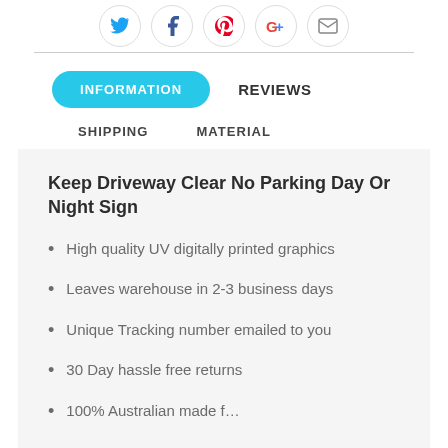[Figure (other): Row of social sharing icon buttons (Twitter, Facebook, Pinterest, Google+, email) in circular bordered containers]
INFORMATION   REVIEWS
SHIPPING   MATERIAL
Keep Driveway Clear No Parking Day Or Night Sign
High quality UV digitally printed graphics
Leaves warehouse in 2-3 business days
Unique Tracking number emailed to you
30 Day hassle free returns
100% Australian made f…